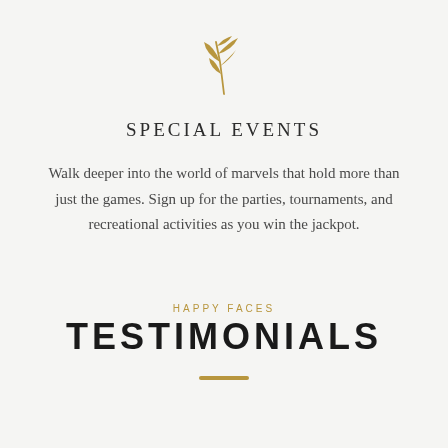[Figure (illustration): Gold decorative leaf/branch icon centered at top of page]
SPECIAL EVENTS
Walk deeper into the world of marvels that hold more than just the games. Sign up for the parties, tournaments, and recreational activities as you win the jackpot.
HAPPY FACES
TESTIMONIALS
[Figure (illustration): Short gold horizontal decorative bar/divider]